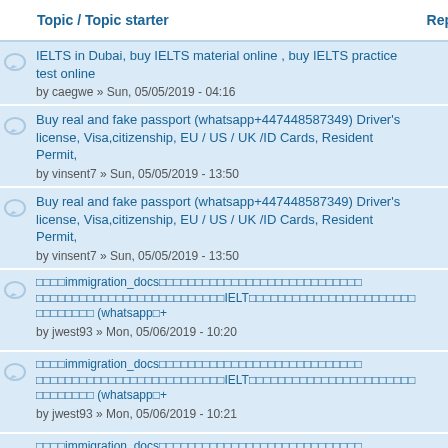| Topic / Topic starter | Replies | Last post |
| --- | --- | --- |
| IELTS in Dubai, buy IELTS material online , buy IELTS practice test online
by caegwe » Sun, 05/05/2019 - 04:16 | 0 | Sun, 05/0
- 04:16 |
| Buy real and fake passport (whatsapp+447448587349) Driver's license, Visa,citizenship, EU / US / UK /ID Cards, Resident Permit,
by vinsent7 » Sun, 05/05/2019 - 13:50 | 0 | by vinsen
Sun, 05/0
- 13:50 |
| Buy real and fake passport (whatsapp+447448587349) Driver's license, Visa,citizenship, EU / US / UK /ID Cards, Resident Permit,
by vinsent7 » Sun, 05/05/2019 - 13:50 | 0 | by vinsen
Sun, 05/0
- 13:50 |
| [garbled]immigration_docs[garbled]IELT[garbled] (whatsapp[garbled]+
by jwest93 » Mon, 05/06/2019 - 10:20 | 0 | by jwest9
Mon,
05/06/20
10:20 |
| [garbled]immigration_docs[garbled]IELT[garbled] (whatsapp[garbled]+
by jwest93 » Mon, 05/06/2019 - 10:21 | 0 | by jwest9
Mon,
05/06/20
10:21 |
| [garbled]immigration_docs[garbled]... | 0 | by jwest... |